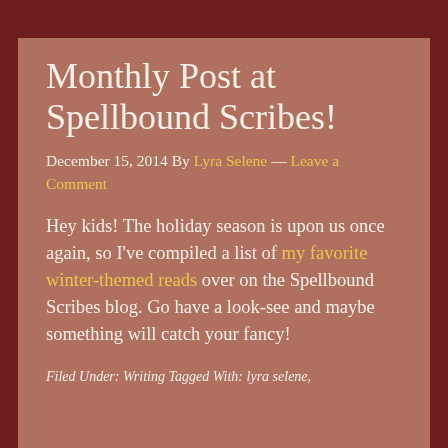Monthly Post at Spellbound Scribes!
December 15, 2014 By Lyra Selene — Leave a Comment
Hey kids! The holiday season is upon us once again, so I've compiled a list of my favorite winter-themed reads over on the Spellbound Scribes blog. Go have a look-see and maybe something will catch your fancy!
Filed Under: Writing Tagged With: lyra selene,